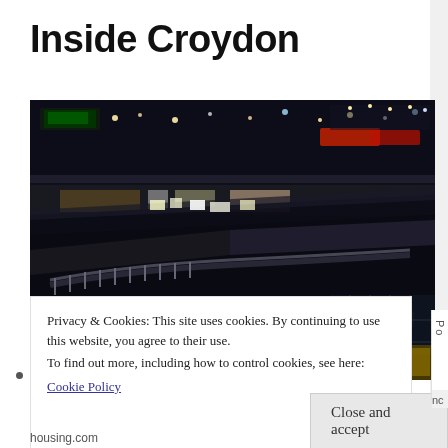Inside Croydon
[Figure (photo): Aerial night-time photograph of Croydon town centre showing illuminated shopping centre rooftops, walkways, and bus station with people and vehicles visible]
Privacy & Cookies: This site uses cookies. By continuing to use this website, you agree to their use.
To find out more, including how to control cookies, see here:
Cookie Policy
Close and accept
housing.com